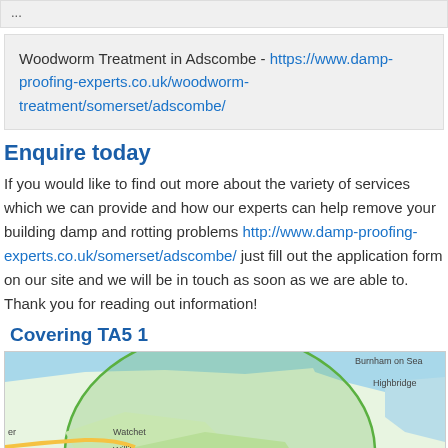...
Woodworm Treatment in Adscombe - https://www.damp-proofing-experts.co.uk/woodworm-treatment/somerset/adscombe/
Enquire today
If you would like to find out more about the variety of services which we can provide and how our experts can help remove your building damp and rotting problems http://www.damp-proofing-experts.co.uk/somerset/adscombe/ just fill out the application form on our site and we will be in touch as soon as we are able to. Thank you for reading out information!
Covering TA5 1
[Figure (map): Google Maps showing coverage area around Adscombe/Williton/Watchet Somerset region with green circle overlay and red location pin, showing roads A39, A19, A70, places including Highbridge, Watchet, Williton, Cannington, Burnham-on-Sea]